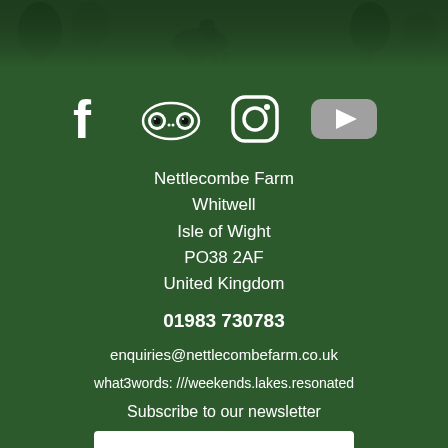[Figure (illustration): Dark green header image with silhouettes of animals and trees]
[Figure (infographic): Social media icons: Facebook, TripAdvisor, Instagram, YouTube]
Nettlecombe Farm
Whitwell
Isle of Wight
PO38 2AF
United Kingdom
01983 730783
enquiries@nettlecombefarm.co.uk
what3words: ///weekends.lakes.resonated
Subscribe to our newsletter